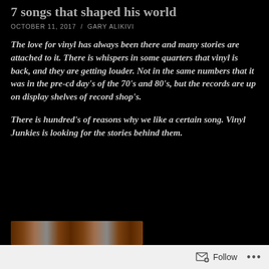7 songs that shaped his world
OCTOBER 11, 2017  /  GARY ALIKIVI
The love for vinyl has always been there and many stories are attached to it. There is whispers in some quarters that vinyl is back, and they are getting louder. Not in the same numbers that it was in the pre-cd day's of the 70's and 80's, but the records are up on display shelves of record shop's.
There is hundred's of reasons why we like a certain song. Vinyl Junkies is looking for the stories behind them.
[Figure (photo): Partial view of a record store or vinyl album display, showing colorful album covers at the bottom of the page.]